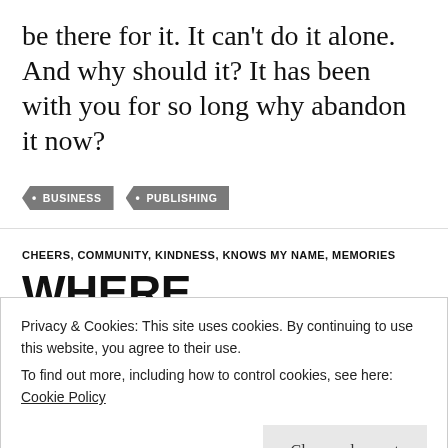be there for it. It can't do it alone. And why should it? It has been with you for so long why abandon it now?
BUSINESS
PUBLISHING
CHEERS, COMMUNITY, KINDNESS, KNOWS MY NAME, MEMORIES
WHERE EVERYBODY KNOWS
Privacy & Cookies: This site uses cookies. By continuing to use this website, you agree to their use.
To find out more, including how to control cookies, see here: Cookie Policy
Close and accept